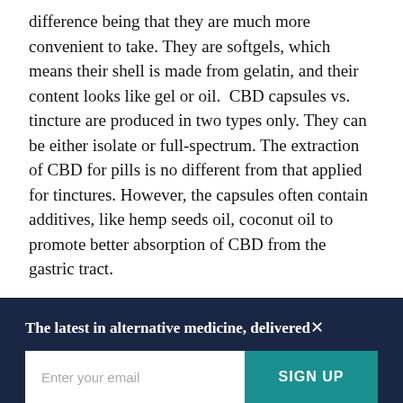difference being that they are much more convenient to take. They are softgels, which means their shell is made from gelatin, and their content looks like gel or oil.  CBD capsules vs. tincture are produced in two types only. They can be either isolate or full-spectrum. The extraction of CBD for pills is no different from that applied for tinctures. However, the capsules often contain additives, like hemp seeds oil, coconut oil to promote better absorption of CBD from the gastric tract.
The latest in alternative medicine, delivered
Enter your email
SIGN UP
Your privacy is important to us